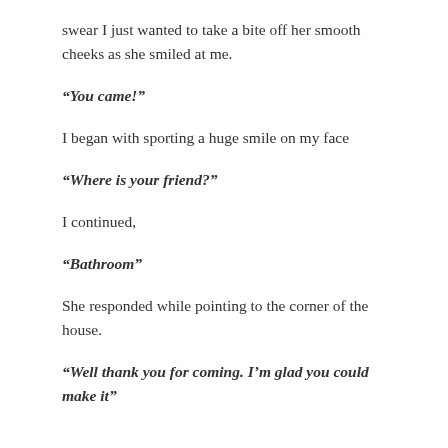swear I just wanted to take a bite off her smooth cheeks as she smiled at me.
“You came!”
I began with sporting a huge smile on my face
“Where is your friend?”
I continued,
“Bathroom”
She responded while pointing to the corner of the house.
“Well thank you for coming. I’m glad you could make it”